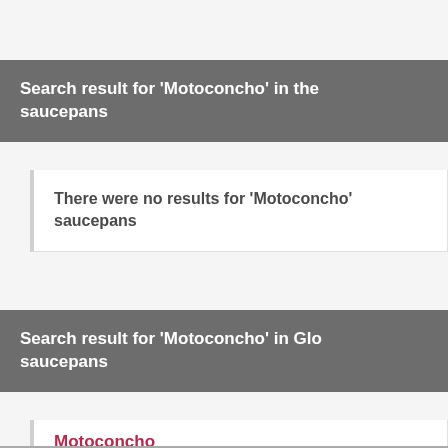Search result for 'Motoconcho' in the saucepans
There were no results for 'Motoconcho' saucepans
Search result for 'Motoconcho' in Glo saucepans
Motoconcho